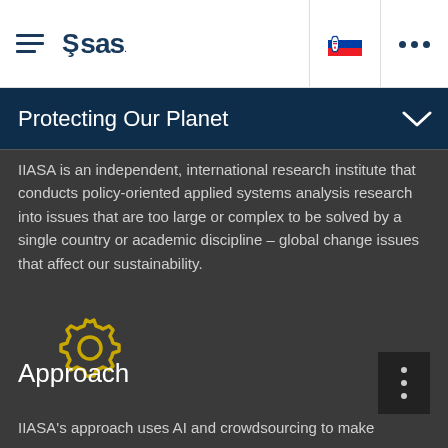SAS logo and navigation bar with hamburger menu, Slovak flag, and three-dot menu
Protecting Our Planet
IIASA is an independent, international research institute that conducts policy-oriented applied systems analysis research into issues that are too large or complex to be solved by a single country or academic discipline – global change issues that affect our sustainability.
[Figure (illustration): Yellow gear/settings icon outline]
Approach
IIASA's approach uses AI and crowdsourcing to make